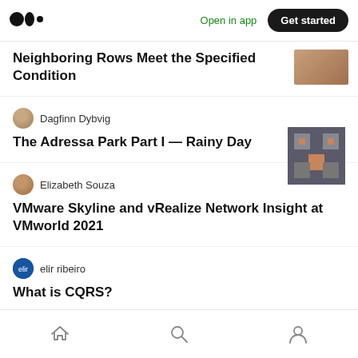Medium app navigation bar with logo, Open in app link, and Get started button
Neighboring Rows Meet the Specified Condition
Dagfinn Dybvig
The Adressa Park Part I — Rainy Day
Elizabeth Souza
VMware Skyline and vRealize Network Insight at VMworld 2021
elir ribeiro
What is CQRS?
Bottom navigation bar with home, search, and profile icons